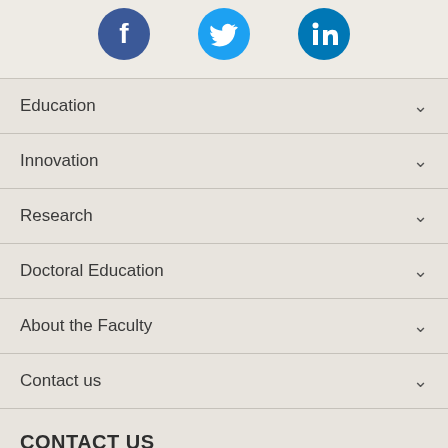[Figure (infographic): Three social media icons: Facebook (dark blue circle), Twitter (light blue circle), LinkedIn (dark blue circle)]
Education
Innovation
Research
Doctoral Education
About the Faculty
Contact us
CONTACT US
post@med.uib.no